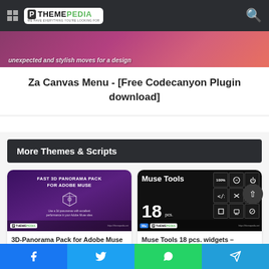THEMEPEDIA — WE HAVE EVERYTHING YOU'RE LOOKING FOR
[Figure (screenshot): Partial banner image with stylized text overlay reading 'unexpected and stylish moves for a design' on pink/magenta gradient background]
Za Canvas Menu - [Free Codecanyon Plugin download]
More Themes & Scripts
[Figure (screenshot): Thumbnail for 3D-Panorama Pack for Adobe Muse plugin — purple gradient background with white cube icon and white uppercase text 'FAST 3D PANORAMA PACK FOR ADOBE MUSE' with Themepedia logo at bottom]
3D-Panorama Pack for Adobe Muse – [100% Nulled Plugin]
[Figure (screenshot): Thumbnail for Muse Tools 18 pcs. widgets showing black background with grid of tool icons including code, cursor, shapes, and the number 18 prominently displayed with Themepedia logo]
Muse Tools 18 pcs. widgets – [Codecanyon Scripts]